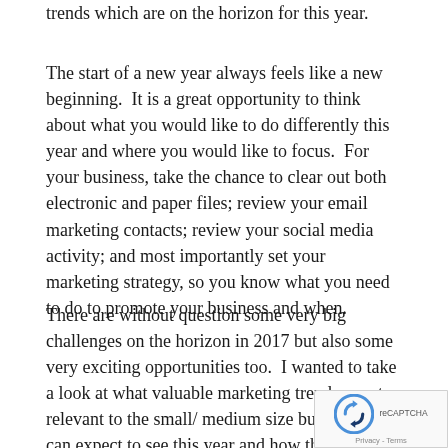trends which are on the horizon for this year.
The start of a new year always feels like a new beginning.  It is a great opportunity to think about what you would like to do differently this year and where you would like to focus.  For your business, take the chance to clear out both electronic and paper files; review your email marketing contacts; review your social media activity; and most importantly set your marketing strategy, so you know what you need to do to promote your business and when.
There are without question some very big challenges on the horizon in 2017 but also some very exciting opportunities too.  I wanted to take a look at what valuable marketing trends, most relevant to the small/ medium size business, we can expect to see this year and how they have changed from last year.
Before we look at the trends around the practical usa marketing, I wanted to firstly consider people.  By thi mean your teams, people you work with but most